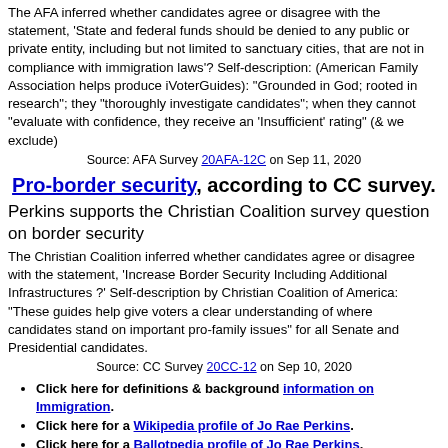The AFA inferred whether candidates agree or disagree with the statement, 'State and federal funds should be denied to any public or private entity, including but not limited to sanctuary cities, that are not in compliance with immigration laws'? Self-description: (American Family Association helps produce iVoterGuides): "Grounded in God; rooted in research"; they "thoroughly investigate candidates"; when they cannot "evaluate with confidence, they receive an 'Insufficient' rating" (& we exclude)
Source: AFA Survey 20AFA-12C on Sep 11, 2020
Pro-border security, according to CC survey.
Perkins supports the Christian Coalition survey question on border security
The Christian Coalition inferred whether candidates agree or disagree with the statement, 'Increase Border Security Including Additional Infrastructures ?' Self-description by Christian Coalition of America: "These guides help give voters a clear understanding of where candidates stand on important pro-family issues" for all Senate and Presidential candidates.
Source: CC Survey 20CC-12 on Sep 10, 2020
Click here for definitions & background information on Immigration.
Click here for a Wikipedia profile of Jo Rae Perkins.
Click here for a Ballotpedia profile of Jo Rae Perkins.
Click here for SenateMatch quiz answers by Jo Rae Perkins.
Click here for a summary of Jo Rae Perkins's positions on all issues.
Click here for issue positions of other OR politicians.
Click here for issue statements from OR primary archives.
Click here for issue statements from OR secondary archives.